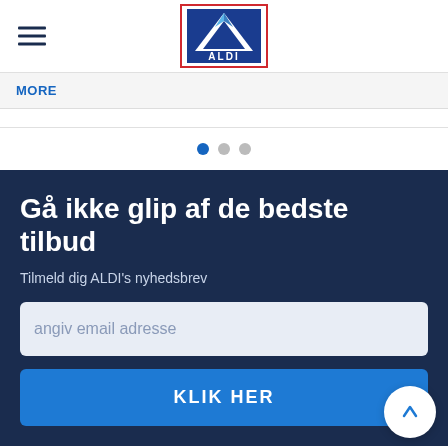[Figure (logo): ALDI logo: blue triangle with 'ALDI' text in white on blue background, surrounded by red border]
MORE
[Figure (other): Carousel pagination dots: 3 dots, first filled blue, others grey]
Gå ikke glip af de bedste tilbud
Tilmeld dig ALDI's nyhedsbrev
angiv email adresse
KLIK HER